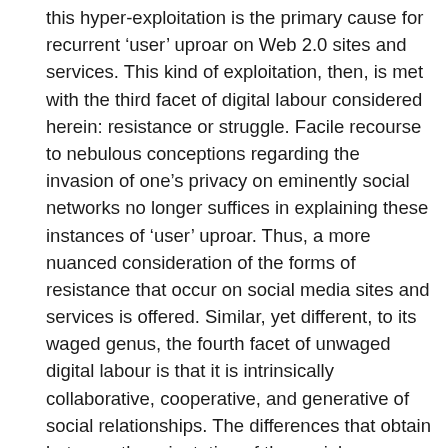this hyper-exploitation is the primary cause for recurrent 'user' uproar on Web 2.0 sites and services. This kind of exploitation, then, is met with the third facet of digital labour considered herein: resistance or struggle. Facile recourse to nebulous conceptions regarding the invasion of one's privacy on eminently social networks no longer suffices in explaining these instances of 'user' uproar. Thus, a more nuanced consideration of the forms of resistance that occur on social media sites and services is offered. Similar, yet different, to its waged genus, the fourth facet of unwaged digital labour is that it is intrinsically collaborative, cooperative, and generative of social relationships. The differences that obtain between the orientation of the social relationships constituted by waged and unwaged digital labour respectively are indicative of political potentials that have up until this point been under-theorized. Thus, building on the four aforementioned facets, as well as the arguments put forth by Hardt and Negri regarding the biopolitical dimensions of 'immaterial labour' (2000, 2004, 2009), the fifth and most